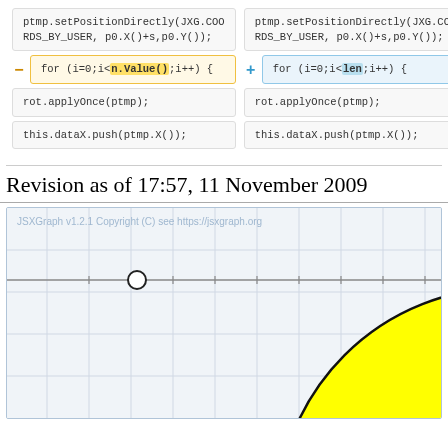[Figure (screenshot): Code diff showing two columns. Left column has removed line with 'for (i=0;i<n.Value();i++) {' highlighted in yellow. Right column has added line with 'for (i=0;i<len;i++) {' highlighted in blue. Both columns show common context lines: ptmp.setPositionDirectly(JXG.COORDS_BY_USER, p0.X()+s,p0.Y()); and rot.applyOnce(ptmp); and this.dataX.push(ptmp.X());]
Revision as of 17:57, 11 November 2009
[Figure (screenshot): JSXGraph v1.2.1 interactive canvas showing a coordinate grid with a horizontal axis, a small circle point on the left side of the axis, and a large yellow filled circle (partially visible) in the lower right area. Watermark text: JSXGraph v1.2.1 Copyright (C) see https://jsxgraph.org]